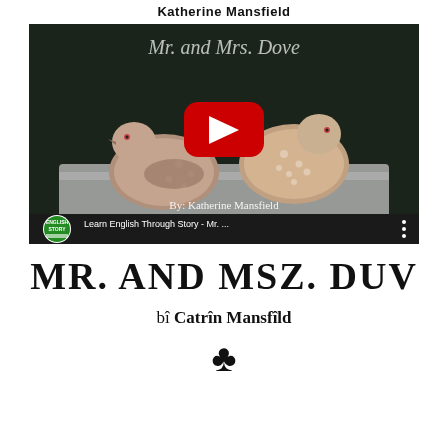Katherine Mansfield
[Figure (screenshot): YouTube video thumbnail showing two doves/pigeons on a white ledge with dark background. Video title overlay reads 'Mr. and Mrs. Dove'. Channel logo shows 'English Story' badge. Video title in player bar: 'Learn English Through Story - Mr. ...' with three-dot menu. Large red YouTube play button in center. Subtitle on image: 'By: Katherine Mansfield']
MR. AND MSZ. DUV
bî Catrîn Mansfîld
[Figure (illustration): Black club suit symbol (♣)]